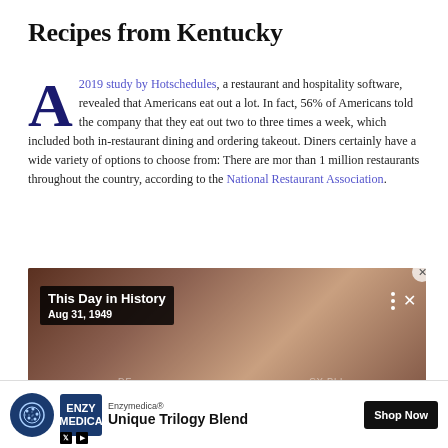Recipes from Kentucky
A 2019 study by Hotschedules, a restaurant and hospitality software, revealed that Americans eat out a lot. In fact, 56% of Americans told the company that they eat out two to three times a week, which included both in-restaurant dining and ordering takeout. Diners certainly have a wide variety of options to choose from: There are mor than 1 million restaurants throughout the country, according to the National Restaurant Association.
[Figure (screenshot): Video thumbnail showing 'This Day in History' overlay with date Aug 31, 1949, depicting an older white-haired man (Richard Gere), with progress bar at top and video controls (three-dot menu, X close button) at upper right.]
[Figure (screenshot): Advertisement banner: cookie icon on left, Enzymedica logo, brand name 'Enzymedica®', product 'Unique Trilogy Blend', 'Shop Now' dark button. Small X and play icons at bottom left.]